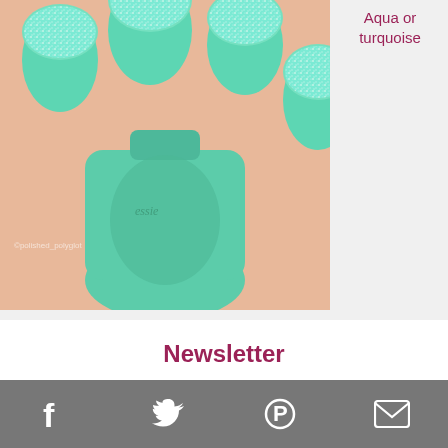[Figure (photo): Close-up photo of hands holding a teal/mint Essie nail polish bottle with glitter-tipped teal nails. Watermark reads '@polished_polyglot'.]
Aqua or turquoise
Newsletter
Email*
you@example.com
Facebook  Twitter  Pinterest  Email